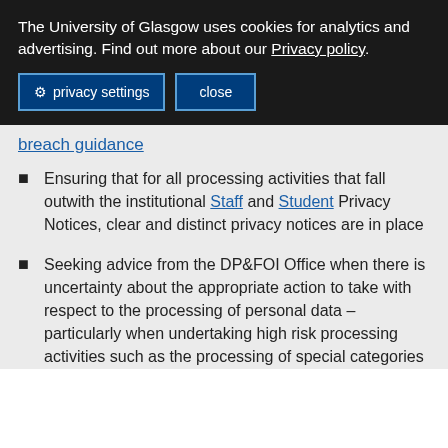The University of Glasgow uses cookies for analytics and advertising. Find out more about our Privacy policy.
privacy settings   close
breach guidance
Ensuring that for all processing activities that fall outwith the institutional Staff and Student Privacy Notices, clear and distinct privacy notices are in place
Seeking advice from the DP&FOI Office when there is uncertainty about the appropriate action to take with respect to the processing of personal data – particularly when undertaking high risk processing activities such as the processing of special categories